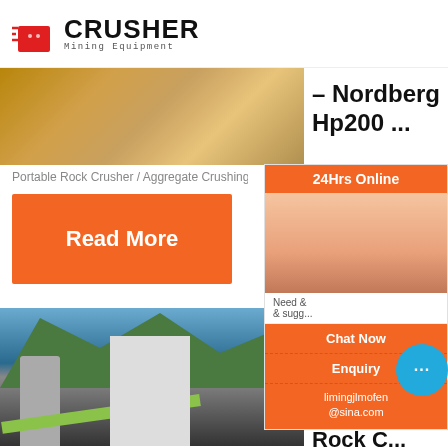[Figure (logo): Crusher Mining Equipment logo with red shopping bag icon]
[Figure (photo): Construction site or mining equipment site with sandy terrain]
- Nordberg Hp200 ...
Portable Rock Crusher / Aggregate Crushing Pla...
Read More
[Figure (photo): Industrial cement plant or mining facility with silos, conveyors and buildings set against green mountains]
Mobile Hammer Crusher | Portable Rock C...
[Figure (infographic): 24Hrs Online customer service sidebar with agent photo, Chat Now button, Enquiry button, and email limingjlmofen@sina.com]